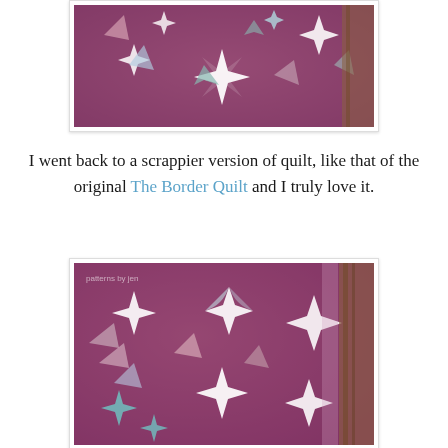[Figure (photo): A purple quilt with star and pinwheel patterns in white, teal, and multicolor fabrics, photographed outdoors on what appears to be wooden furniture.]
I went back to a scrappier version of quilt, like that of the original The Border Quilt and I truly love it.
[Figure (photo): A close-up photo of a purple quilt showing star and pinwheel blocks in white, teal, pink, and multicolor fabrics. A watermark reads 'patterns by jen' in the upper left corner.]